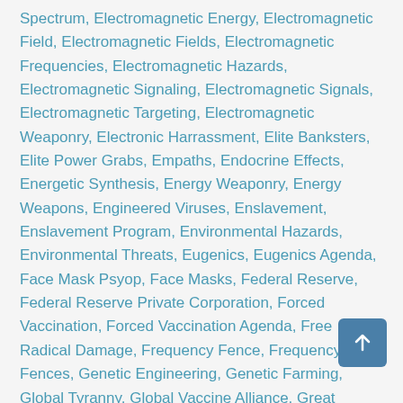Spectrum, Electromagnetic Energy, Electromagnetic Field, Electromagnetic Fields, Electromagnetic Frequencies, Electromagnetic Hazards, Electromagnetic Signaling, Electromagnetic Signals, Electromagnetic Targeting, Electromagnetic Weaponry, Electronic Harrassment, Elite Banksters, Elite Power Grabs, Empaths, Endocrine Effects, Energetic Synthesis, Energy Weaponry, Energy Weapons, Engineered Viruses, Enslavement, Enslavement Program, Environmental Hazards, Environmental Threats, Eugenics, Eugenics Agenda, Face Mask Psyop, Face Masks, Federal Reserve, Federal Reserve Private Corporation, Forced Vaccination, Forced Vaccination Agenda, Free Radical Damage, Frequency Fence, Frequency Fences, Genetic Engineering, Genetic Farming, Global Tyranny, Global Vaccine Alliance, Great Reset, GWEN, HAARP, Harmful Radiation, Hazards to Nature, Health, Health Alert, Health Awareness, Health Experts, Hidden Dangers, Idiots in the Machine, Internet of Things (IoT), Jared Kushner, Jared Kushner 666 Mark of the Beast Microchip, Jared Kushner Antichrist, Jared